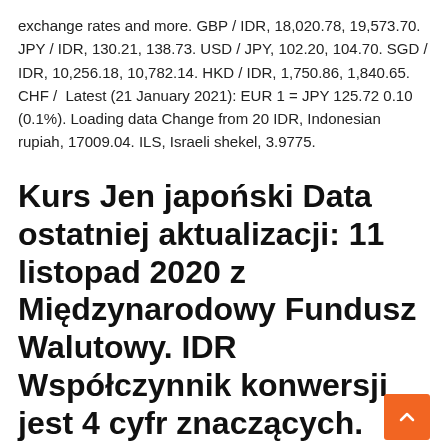exchange rates and more. GBP / IDR, 18,020.78, 19,573.70. JPY / IDR, 130.21, 138.73. USD / JPY, 102.20, 104.70. SGD / IDR, 10,256.18, 10,782.14. HKD / IDR, 1,750.86, 1,840.65. CHF /  Latest (21 January 2021): EUR 1 = JPY 125.72 0.10 (0.1%). Loading data Change from 20 IDR, Indonesian rupiah, 17009.04. ILS, Israeli shekel, 3.9775.
Kurs Jen japoński Data ostatniej aktualizacji: 11 listopad 2020 z Międzynarodowy Fundusz Walutowy. IDR Współczynnik konwersji jest 4 cyfr znaczących. JPY Współczynnik konwersji jest 6 cyfr znaczących.